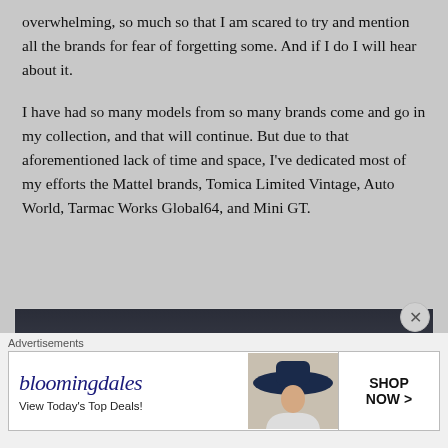overwhelming, so much so that I am scared to try and mention all the brands for fear of forgetting some. And if I do I will hear about it.
I have had so many models from so many brands come and go in my collection, and that will continue. But due to that aforementioned lack of time and space, I've dedicated most of my efforts the Mattel brands, Tomica Limited Vintage, Auto World, Tarmac Works Global64, and Mini GT.
[Figure (photo): A toy car model (appears to be a station wagon/estate car in blue and white) photographed against a dark gradient background, showing the top portion of the vehicle.]
Advertisements
[Figure (other): Bloomingdale's advertisement banner: 'bloomingdales - View Today's Top Deals!' with a woman in a large hat, and a 'SHOP NOW >' button.]